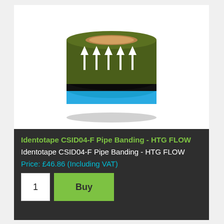[Figure (photo): A roll of pipe identification banding tape showing olive/dark green color with white upward-pointing arrows on top, with a cyan/blue stripe below and a black stripe at the bottom.]
Identotape CSID04-F Pipe Banding - HTG FLOW
Identotape CSID04-F Pipe Banding - HTG FLOW
Price: £46.86 (Including VAT)
1  Buy